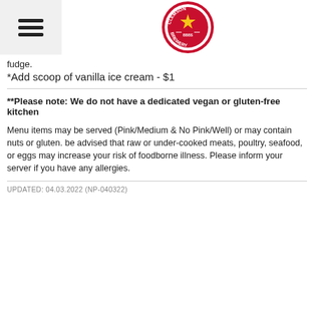[Figure (logo): Clemson Brewery circular logo with red border, gold star, and text reading CLEMSON BREWERY BBBS]
fudge.
*Add scoop of vanilla ice cream - $1
**Please note: We do not have a dedicated vegan or gluten-free kitchen
Menu items may be served (Pink/Medium & No Pink/Well) or may contain nuts or gluten. be advised that raw or under-cooked meats, poultry, seafood, or eggs may increase your risk of foodborne illness. Please inform your server if you have any allergies.
UPDATED: 04.03.2022 (NP-040322)